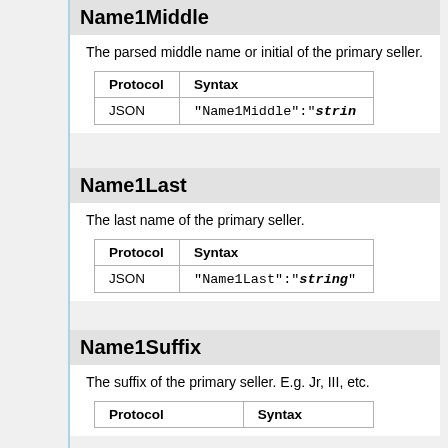Name1Middle
The parsed middle name or initial of the primary seller.
| Protocol | Syntax |
| --- | --- |
| JSON | "Name1Middle":"string" |
Name1Last
The last name of the primary seller.
| Protocol | Syntax |
| --- | --- |
| JSON | "Name1Last":"string" |
Name1Suffix
The suffix of the primary seller. E.g. Jr, III, etc.
| Protocol | Syntax |
| --- | --- |